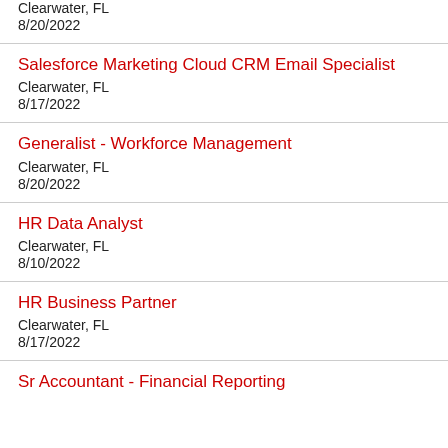Clearwater, FL
8/20/2022
Salesforce Marketing Cloud CRM Email Specialist
Clearwater, FL
8/17/2022
Generalist - Workforce Management
Clearwater, FL
8/20/2022
HR Data Analyst
Clearwater, FL
8/10/2022
HR Business Partner
Clearwater, FL
8/17/2022
Sr Accountant - Financial Reporting